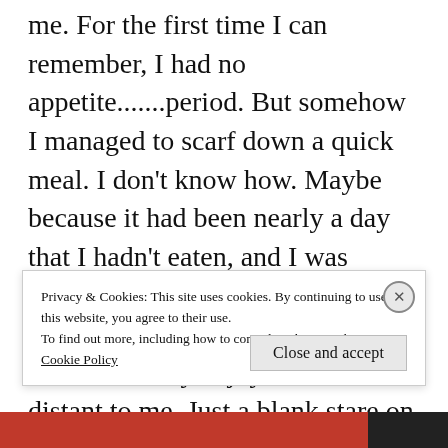me. For the first time I can remember, I had no appetite.......period. But somehow I managed to scarf down a quick meal. I don't know how. Maybe because it had been nearly a day that I hadn't eaten, and I was starting to feel weak. I'm really not sure. In fact, all the good things that I normally enjoy seemed so distant to me. Just a blank stare on my face is all I could muster. I looked like an empty
Privacy & Cookies: This site uses cookies. By continuing to use this website, you agree to their use.
To find out more, including how to control cookies, see here:
Cookie Policy
Close and accept